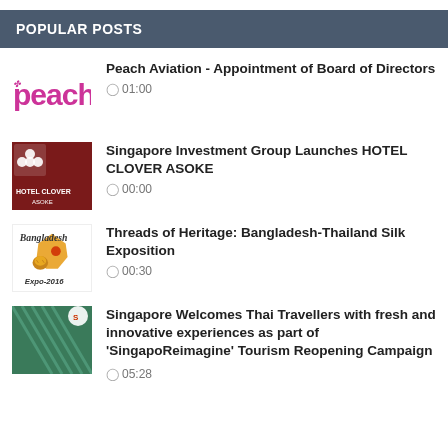POPULAR POSTS
[Figure (logo): Peach Aviation logo - pink/magenta stylized text 'peach']
Peach Aviation - Appointment of Board of Directors
01:00
[Figure (logo): Hotel Clover Asoke logo - dark red with white flower/clover icon]
Singapore Investment Group Launches HOTEL CLOVER ASOKE
00:00
[Figure (illustration): Bangladesh Expo-2016 logo with tiger, map and text]
Threads of Heritage: Bangladesh-Thailand Silk Exposition
00:30
[Figure (photo): Singapore building interior with glass roof and Singapore Tourism Board logo]
Singapore Welcomes Thai Travellers with fresh and innovative experiences as part of 'SingapoReimagine' Tourism Reopening Campaign
05:28